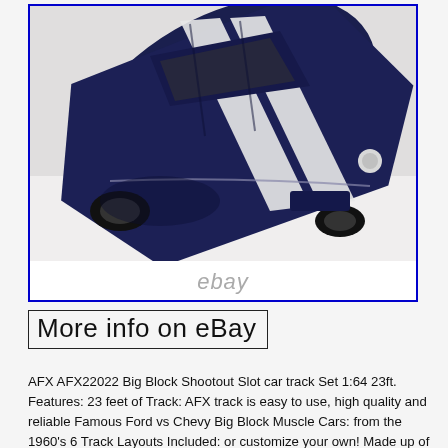[Figure (photo): Top-down view of a dark navy blue model car with white racing stripes, appearing to be a 1960s Ford Mustang or Shelby style slot car. The image has an eBay watermark.]
More info on eBay
AFX AFX22022 Big Block Shootout Slot car track Set 1:64 23ft. Features: 23 feet of Track: AFX track is easy to use, high quality and reliable Famous Ford vs Chevy Big Block Muscle Cars: from the 1960's 6 Track Layouts Included: or customize your own! Made up of our new Mega G+ Chassis, Upgraded AFX120 Controllers and Exclusive Tri-Power Pack, the Mega G+ Race System is the perfect balance of grip and speed. Adjustable power levels allow all drivers, regardless of skill, to get the most out of their race! Changing levels is as simple as flipping a switch.